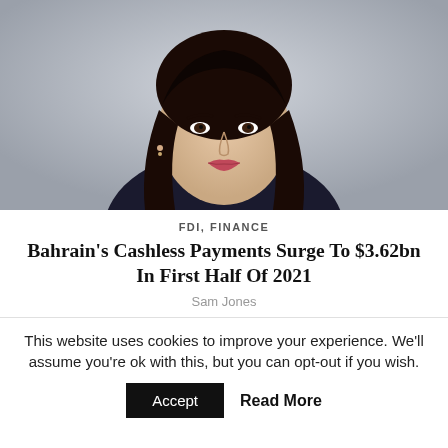[Figure (photo): Professional headshot of a woman with long dark hair, wearing a dark top, against a light gray background.]
FDI, FINANCE
Bahrain's Cashless Payments Surge To $3.62bn In First Half Of 2021
Sam Jones
This website uses cookies to improve your experience. We'll assume you're ok with this, but you can opt-out if you wish.
Accept   Read More